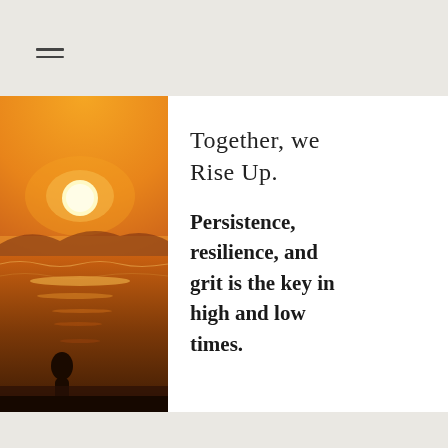≡
[Figure (photo): Silhouette of a person standing on a beach at sunset, with golden orange sky and sun reflecting on the ocean waves]
Together, we Rise Up.
Persistence, resilience, and grit is the key in high and low times.